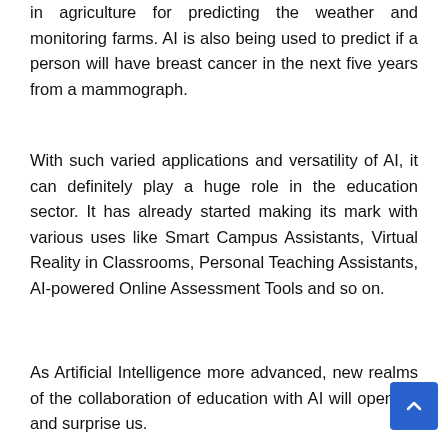in agriculture for predicting the weather and monitoring farms. AI is also being used to predict if a person will have breast cancer in the next five years from a mammograph.
With such varied applications and versatility of AI, it can definitely play a huge role in the education sector. It has already started making its mark with various uses like Smart Campus Assistants, Virtual Reality in Classrooms, Personal Teaching Assistants, AI-powered Online Assessment Tools and so on.
As Artificial Intelligence more advanced, new realms of the collaboration of education with AI will open up and surprise us.